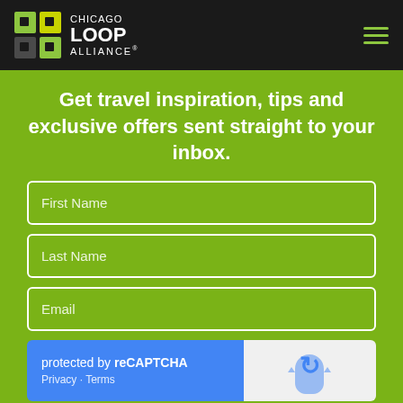[Figure (logo): Chicago Loop Alliance logo on dark header with hamburger menu]
Get travel inspiration, tips and exclusive offers sent straight to your inbox.
First Name
Last Name
Email
[Figure (screenshot): reCAPTCHA widget: blue left side with 'protected by reCAPTCHA' text and Privacy - Terms links, grey right side with reCAPTCHA arrow icon]
Sign me up